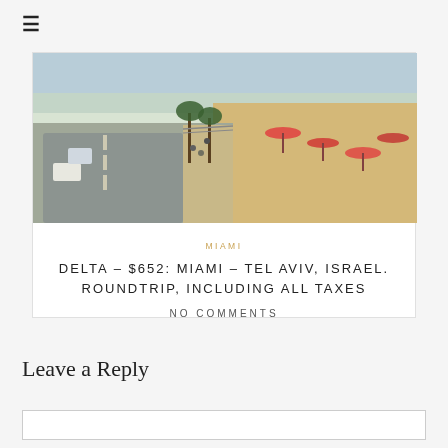≡
[Figure (photo): Aerial view of a coastal road with traffic and a sandy beach with umbrellas, Tel Aviv, Israel]
MIAMI
DELTA – $652: MIAMI – TEL AVIV, ISRAEL. ROUNDTRIP, INCLUDING ALL TAXES
NO COMMENTS
Leave a Reply